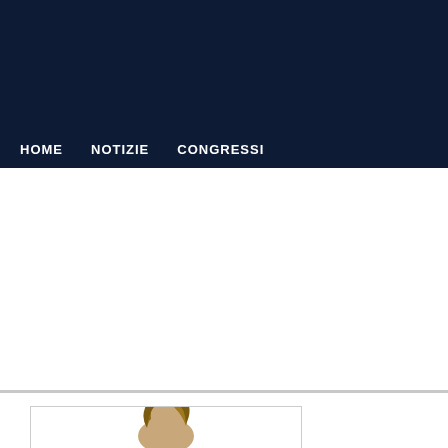HOME   NOTIZIE   CONGRESSI
[Figure (photo): Partial view of a person's head with brown hair, shown from behind/top, inside a bordered photo frame box at the bottom of the page]